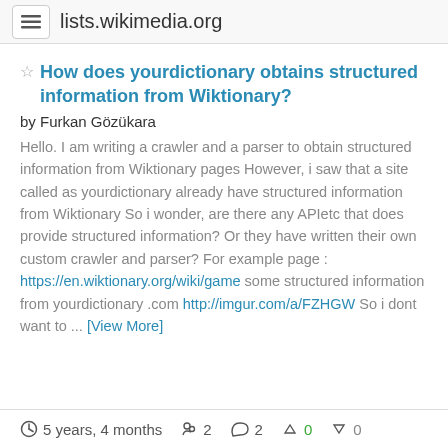lists.wikimedia.org
How does yourdictionary obtains structured information from Wiktionary?
by Furkan Gözükara
Hello. I am writing a crawler and a parser to obtain structured information from Wiktionary pages However, i saw that a site called as yourdictionary already have structured information from Wiktionary So i wonder, are there any APIetc that does provide structured information? Or they have written their own custom crawler and parser? For example page : https://en.wiktionary.org/wiki/game some structured information from yourdictionary .com http://imgur.com/a/FZHGW So i dont want to ... [View More]
5 years, 4 months  2  2  0  0